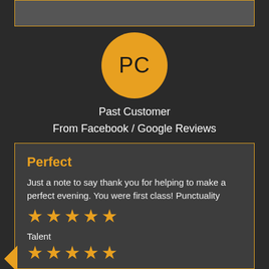[Figure (illustration): Grey rectangle at top of page with orange border]
[Figure (illustration): Orange circle avatar with initials PC]
Past Customer
From Facebook / Google Reviews
Perfect
Just a note to say thank you for helping to make a perfect evening. You were first class! Punctuality
[Figure (illustration): Five orange stars rating for Punctuality]
Talent
[Figure (illustration): Five orange stars rating for Talent]